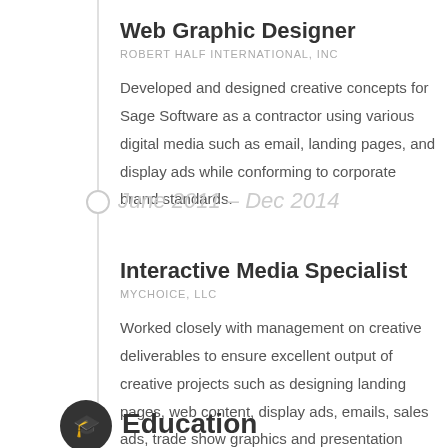Web Graphic Designer
ROBERT HALF INTERNATIONAL, INC
Developed and designed creative concepts for Sage Software as a contractor using various digital media such as email, landing pages, and display ads while conforming to corporate brand standards.
June 2011 – Dec 2014
Interactive Media Specialist
MYCHOICE, LLC
Worked closely with management on creative deliverables to ensure excellent output of creative projects such as designing landing pages, web content, display ads, emails, sales ads, trade show graphics and presentation materials.
Education